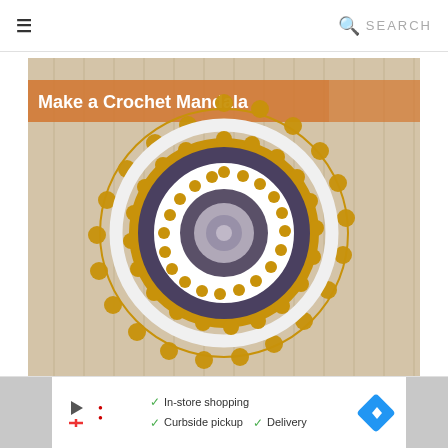≡   🔍 SEARCH
[Figure (photo): A crochet mandala hanging on a wooden panel wall. The mandala features concentric rings in gold/mustard yellow, white, and dark gray/purple, with a lacy sunflower-like border. An orange banner overlay reads 'Make a Crochet Mandala' with craft icons on the right.]
[Figure (other): Advertisement banner at the bottom showing a play button icon, a red logo, and text: checkmark In-store shopping, checkmark Curbside pickup, checkmark Delivery, with a blue diamond navigation icon on the right.]